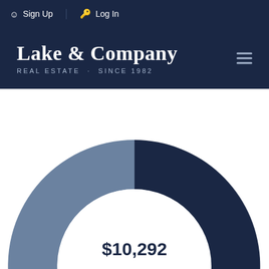Sign Up  Log In
Lake & Company
REAL ESTATE · SINCE 1982
[Figure (donut-chart): Donut chart showing monthly payment of $10,292. Large dark navy segment (~75%) and a medium slate-blue segment (~25%) with center label showing $10,292 Monthly Payment.]